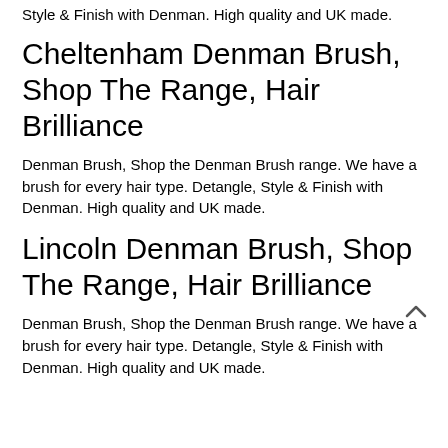Style & Finish with Denman. High quality and UK made.
Cheltenham Denman Brush, Shop The Range, Hair Brilliance
Denman Brush, Shop the Denman Brush range. We have a brush for every hair type. Detangle, Style & Finish with Denman. High quality and UK made.
Lincoln Denman Brush, Shop The Range, Hair Brilliance
Denman Brush, Shop the Denman Brush range. We have a brush for every hair type. Detangle, Style & Finish with Denman. High quality and UK made.